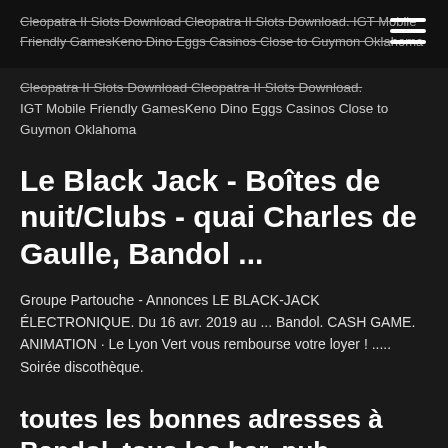Cleopatra II Slots Download Cleopatra II Slots Download. IGT Mobile Friendly GamesKeno Dino Eggs Casinos Close to Guymon Oklahoma
Le Black Jack - Boîtes de nuit/Clubs - quai Charles de Gaulle, Bandol ...
Groupe Partouche - Annonces LE BLACK-JACK ÉLECTRONIQUE. Du 16 avr. 2019 au ... Bandol. CASH GAME. ANIMATION · Le Lyon Vert vous rembourse votre loyer ! ..... Soirée discothèque.
toutes les bonnes adresses à Bandol, tous les bar, pub, brasserie, restaurant,